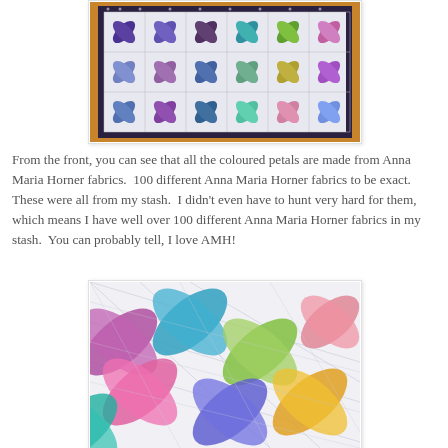[Figure (photo): Photograph of a colorful patchwork quilt displayed on a wooden surface, showing flower/petal pattern blocks made from Anna Maria Horner fabrics in blues, purples, greens, and multicolors, with a dark polka-dot border.]
From the front, you can see that all the coloured petals are made from Anna Maria Horner fabrics.  100 different Anna Maria Horner fabrics to be exact.  These were all from my stash.  I didn't even have to hunt very hard for them, which means I have well over 100 different Anna Maria Horner fabrics in my stash.  You can probably tell, I love AMH!
[Figure (photo): Close-up photograph of a colorful quilt top showing the petal/flower pattern in pinks, purples, blues, teals, yellows and greens on a light background with quilting lines visible.]